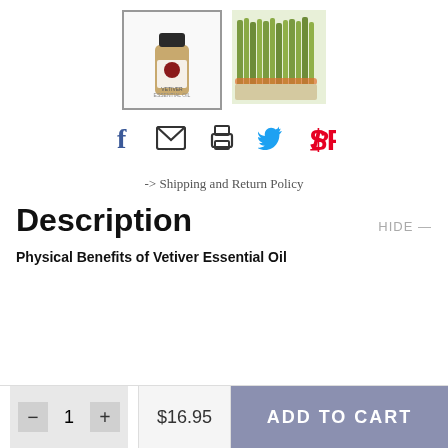[Figure (photo): Two product thumbnail images: left is a vetiver essential oil bottle in a selected/bordered state, right is a photo of vetiver grass bundles.]
[Figure (infographic): Social sharing icons row: Facebook (f), email (envelope), print (printer), Twitter (bird), Pinterest (P)]
-> Shipping and Return Policy
Description
HIDE —
Physical Benefits of Vetiver Essential Oil
— 1 + $16.95 ADD TO CART